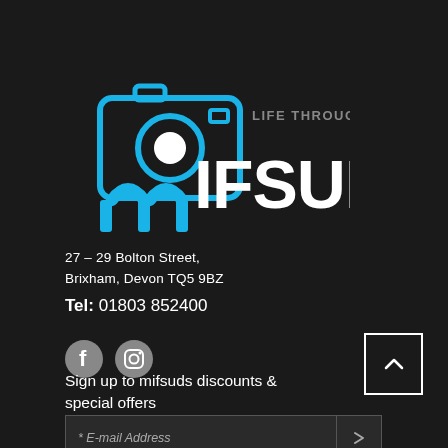[Figure (logo): Mifsuds camera shop logo with blue camera icon and text 'LIFE THROUGH A LENS' above 'mifsuds' in white bold letters]
27 – 29 Bolton Street,
Brixham, Devon TQ5 9BZ
Tel: 01803 852400
[Figure (illustration): Facebook and Instagram social media icons (grey circles with white logos)]
Sign up to mifsuds discounts & special offers
* E-mail Address